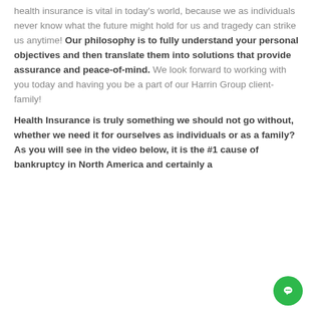health insurance is vital in today's world, because we as individuals never know what the future might hold for us and tragedy can strike us anytime! Our philosophy is to fully understand your personal objectives and then translate them into solutions that provide assurance and peace-of-mind. We look forward to working with you today and having you be a part of our Harrin Group client-family!
Health Insurance is truly something we should not go without, whether we need it for ourselves as individuals or as a family? As you will see in the video below, it is the #1 cause of bankruptcy in North America and certainly a...